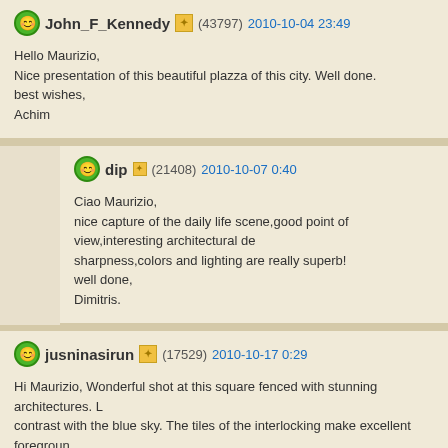John_F_Kennedy (43797) 2010-10-04 23:49
Hello Maurizio,
Nice presentation of this beautiful plazza of this city. Well done.
best wishes,
Achim
dip (21408) 2010-10-07 0:40
Ciao Maurizio,
nice capture of the daily life scene,good point of view,interesting architectural de...
sharpness,colors and lighting are really superb!
well done,
Dimitris.
jusninasirun (17529) 2010-10-17 0:29
Hi Maurizio, Wonderful shot at this square fenced with stunning architectures. L...
contrast with the blue sky. The tiles of the interlocking make excellent foregroun...
and best regards - Jusni.
francio64 (39888) 2010-10-23 3:33